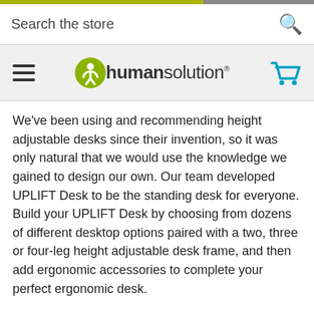Search the store
[Figure (logo): Human Solution logo with green circle icon and wordmark]
We've been using and recommending height adjustable desks since their invention, so it was only natural that we would use the knowledge we gained to design our own. Our team developed UPLIFT Desk to be the standing desk for everyone. Build your UPLIFT Desk by choosing from dozens of different desktop options paired with a two, three or four-leg height adjustable desk frame, and then add ergonomic accessories to complete your perfect ergonomic desk.
Each UPLIFT Desk is designed to have industry-best stability and low energy consumption motors that smoothly and quietly move the surface up and down in seconds. We offer a wide variety of electric adjustable height desks to fit any budget and space with an industry leading all-inclusive 7-year warranty. So check out our high